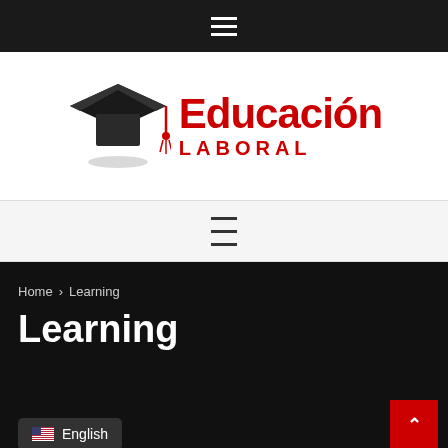☰ (hamburger menu - top navigation bar)
[Figure (logo): Educación Laboral logo with graduation cap and red text reading 'Educación LABORAL']
☰ (hamburger menu - secondary navigation bar)
Home > Learning
Learning